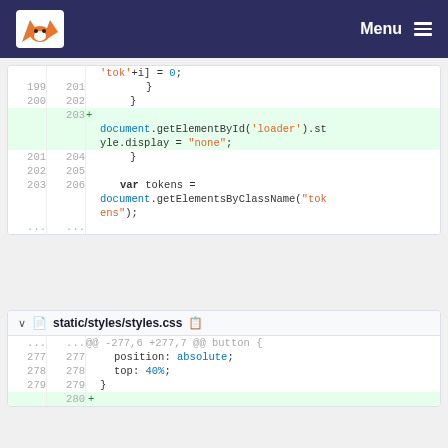Menu
[Figure (screenshot): Code diff panel showing JavaScript code. Lines 199-203 old, 201-206 new. Added line 203 with document.getElementById('loader').style.display = "none"; Lines 201-203/204-206 show closing brace and var tokens = document.getElementsByClassName("tokens");]
[Figure (screenshot): Code diff panel for static/styles/styles.css. Lines 277-280. Shows @@ -277,6 +277,7 @@ button { context, position: absolute; top: 40%; closing brace. Line 280 is added (highlighted green).]